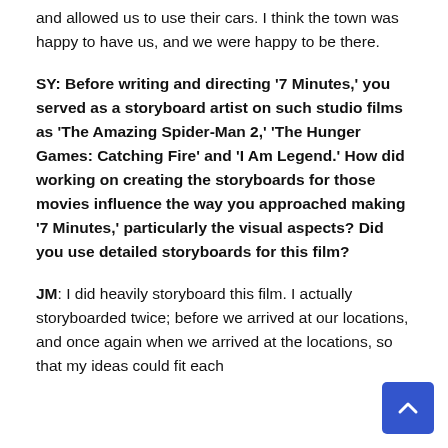and allowed us to use their cars. I think the town was happy to have us, and we were happy to be there.
SY: Before writing and directing '7 Minutes,' you served as a storyboard artist on such studio films as 'The Amazing Spider-Man 2,' 'The Hunger Games: Catching Fire' and 'I Am Legend.' How did working on creating the storyboards for those movies influence the way you approached making '7 Minutes,' particularly the visual aspects? Did you use detailed storyboards for this film?
JM: I did heavily storyboard this film. I actually storyboarded twice; before we arrived at our locations, and once again when we arrived at the locations, so that my ideas could fit each